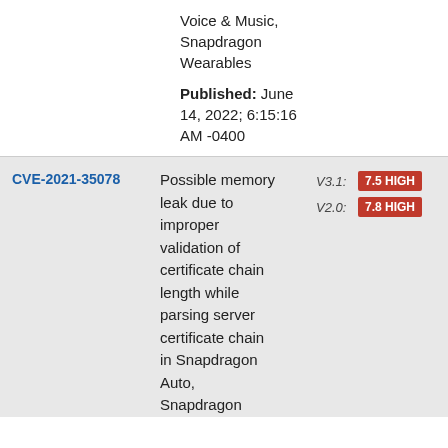Voice & Music, Snapdragon Wearables
Published: June 14, 2022; 6:15:16 AM -0400
| CVE ID | Description | Score |
| --- | --- | --- |
| CVE-2021-35078 | Possible memory leak due to improper validation of certificate chain length while parsing server certificate chain in Snapdragon Auto, Snapdragon... | V3.1: 7.5 HIGH / V2.0: 7.8 HIGH |